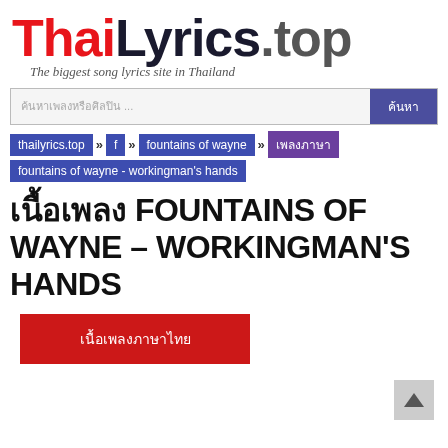ThaiLyrics.top — The biggest song lyrics site in Thailand
ค้นหาเพลงหรือศิลปิน ... ค้นหา
thailyrics.top » f » fountains of wayne » เพลงภาษา fountains of wayne - workingman's hands
เนื้อเพลง FOUNTAINS OF WAYNE – WORKINGMAN'S HANDS
เนื้อเพลงภาษาไทย